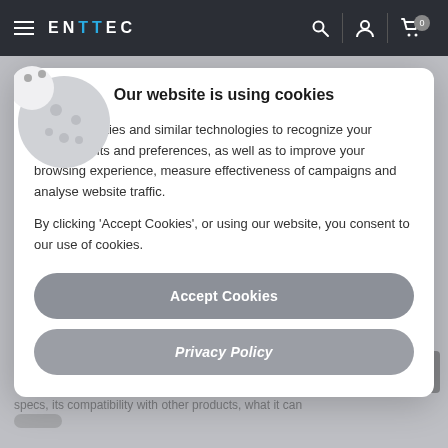ENTTEC
[Figure (screenshot): Cookie consent modal dialog on the ENTTEC website. Modal contains a cookie icon, title 'Our website is using cookies', body text about cookie usage, and two buttons: 'Accept Cookies' and 'Privacy Policy'.]
Our website is using cookies
We use cookies and similar technologies to recognize your repeats visits and preferences, as well as to improve your browsing experience, measure effectiveness of campaigns and analyse website traffic.
By clicking 'Accept Cookies', or using our website, you consent to our use of cookies.
specs, its compatibility with other products, what it can